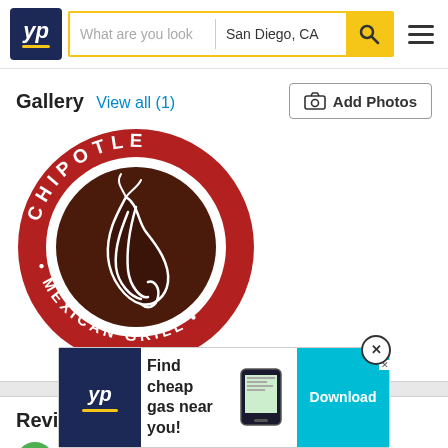YP — What are you looking for? | San Diego, CA
Gallery View all (1)
[Figure (logo): Chipotle Mexican Grill circular logo — red outer ring with white text reading 'CHIPOTLE · MEXICAN GRILL ·', dark brown inner circle with white illustrated chili pepper]
Reviews
[Figure (infographic): YP advertisement banner: 'Find cheap gas near you!' with Download button]